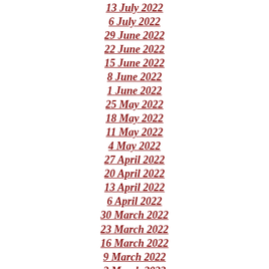13 July 2022
6 July 2022
29 June 2022
22 June 2022
15 June 2022
8 June 2022
1 June 2022
25 May 2022
18 May 2022
11 May 2022
4 May 2022
27 April 2022
20 April 2022
13 April 2022
6 April 2022
30 March 2022
23 March 2022
16 March 2022
9 March 2022
2 March 2022
23 February 2022